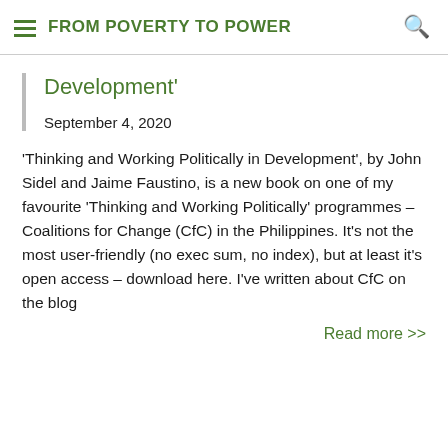FROM POVERTY TO POWER
Development'
September 4, 2020
'Thinking and Working Politically in Development', by John Sidel and Jaime Faustino, is a new book on one of my favourite 'Thinking and Working Politically' programmes – Coalitions for Change (CfC) in the Philippines. It's not the most user-friendly (no exec sum, no index), but at least it's open access – download here. I've written about CfC on the blog
Read more >>